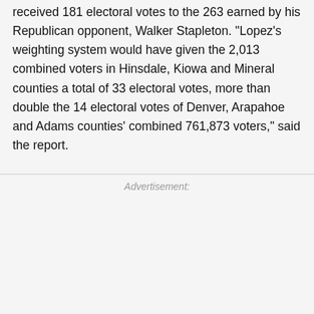received 181 electoral votes to the 263 earned by his Republican opponent, Walker Stapleton. "Lopez's weighting system would have given the 2,013 combined voters in Hinsdale, Kiowa and Mineral counties a total of 33 electoral votes, more than double the 14 electoral votes of Denver, Arapahoe and Adams counties' combined 761,873 voters," said the report.
Advertisement: